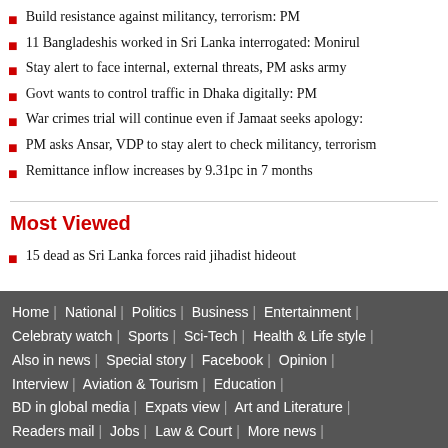Build resistance against militancy, terrorism: PM
11 Bangladeshis worked in Sri Lanka interrogated: Monirul
Stay alert to face internal, external threats, PM asks army
Govt wants to control traffic in Dhaka digitally: PM
War crimes trial will continue even if Jamaat seeks apology:
PM asks Ansar, VDP to stay alert to check militancy, terrorism
Remittance inflow increases by 9.31pc in 7 months
Most Viewed
15 dead as Sri Lanka forces raid jihadist hideout
Home | National | Politics | Business | Entertainment | Celebraty watch | Sports | Sci-Tech | Health & Life style | Also in news | Special story | Facebook | Opinion | Interview | Aviation & Tourism | Education | BD in global media | Expats view | Art and Literature | Readers mail | Jobs | Law & Court | More news |